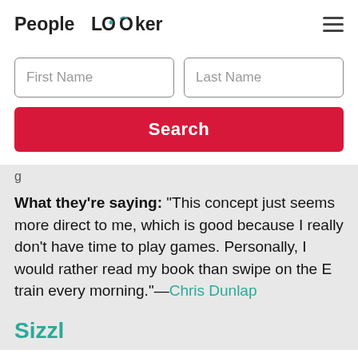[Figure (logo): PeopleLooker logo with teal accent on the two O letters in 'Looker']
[Figure (other): Hamburger menu icon (three horizontal lines)]
[Figure (screenshot): Search form with First Name and Last Name input fields and a red Search button]
What they’re saying: “This concept just seems more direct to me, which is good because I really don’t have time to play games. Personally, I would rather read my book than swipe on the E train every morning.”—Chris Dunlap
Sizzl